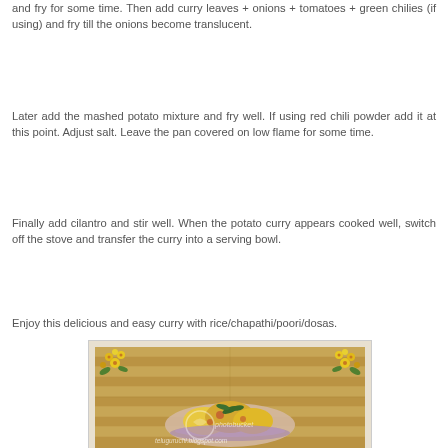and fry for some time. Then add curry leaves + onions + tomatoes + green chilies (if using) and fry till the onions become translucent.
Later add the mashed potato mixture and fry well. If using red chili powder add it at this point. Adjust salt. Leave the pan covered on low flame for some time.
Finally add cilantro and stir well. When the potato curry appears cooked well, switch off the stove and transfer the curry into a serving bowl.
Enjoy this delicious and easy curry with rice/chapathi/poori/dosas.
[Figure (photo): Photo of potato curry dish in a bowl, garnished with curry leaves, displayed on a wooden background with yellow floral corner decorations. Watermark reads 'photobucket' and 'teluguruchi.blogspot.com'.]